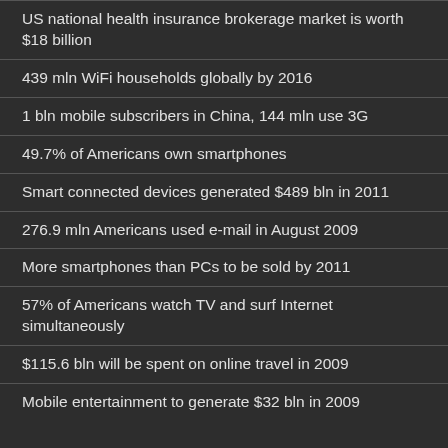US national health insurance brokerage market is worth $18 billion
439 mln WiFi households globally by 2016
1 bln mobile subscribers in China, 144 mln use 3G
49.7% of Americans own smartphones
Smart connected devices generated $489 bln in 2011
276.9 mln Americans used e-mail in August 2009
More smartphones than PCs to be sold by 2011
57% of Americans watch TV and surf Internet simultaneously
$115.6 bln will be spent on online travel in 2009
Mobile entertainment to generate $32 bln in 2009